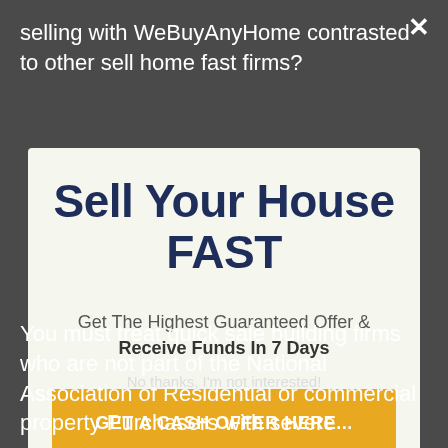selling with WeBuyAnyHome contrasted to other sell home fast firms?
Sell Your House FAST
Get The Highest Guaranteed Offer & Receive Funds In 7 Days
GET A CASH OFFER HERE...
No thanks, I'm not interested!
You must treat quick sale building firms who are not part of the National Association of Residential or commercial property Purchasers with severe